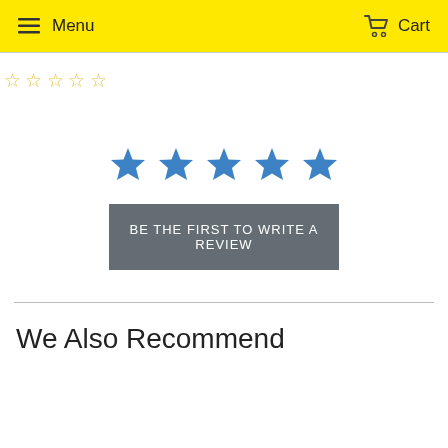Menu  Cart
[Figure (other): Five empty star rating icons in yellow/gold outline]
[Figure (other): Five filled blue star icons for rating selection]
BE THE FIRST TO WRITE A REVIEW
We Also Recommend